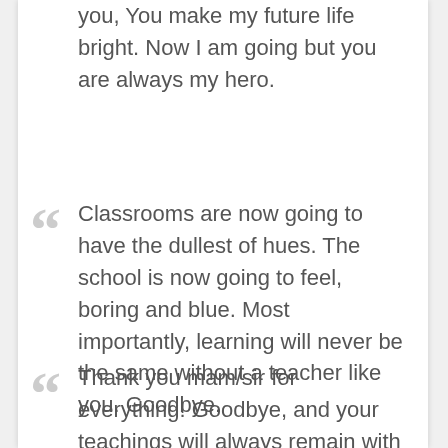you, You make my future life bright. Now I am going but you are always my hero.
Classrooms are now going to have the dullest of hues. The school is now going to feel, boring and blue. Most importantly, learning will never be the same without a teacher like you. Goodbye.
Thank you mam/sir for everything! Goodbye, and your teachings will always remain with us. You have